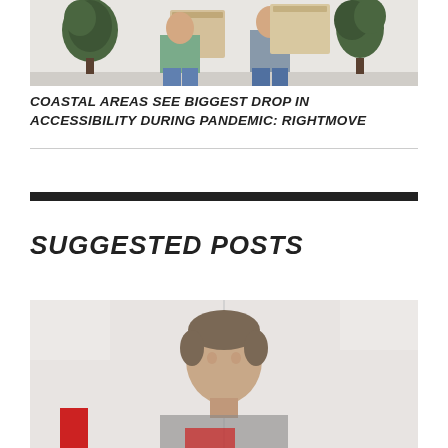[Figure (photo): Two people holding cardboard moving boxes in front of houseplants]
COASTAL AREAS SEE BIGGEST DROP IN ACCESSIBILITY DURING PANDEMIC: RIGHTMOVE
SUGGESTED POSTS
[Figure (photo): Middle-aged man in an office or indoor setting, partial view]